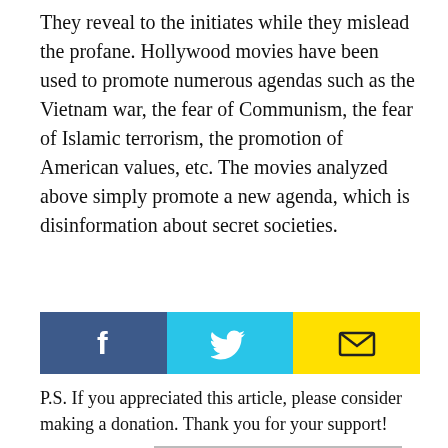They reveal to the initiates while they mislead the profane. Hollywood movies have been used to promote numerous agendas such as the Vietnam war, the fear of Communism, the fear of Islamic terrorism, the promotion of American values, etc. The movies analyzed above simply promote a new agenda, which is disinformation about secret societies.
[Figure (infographic): Social sharing bar with three buttons: Facebook (dark blue, 'f' icon), Twitter (cyan, bird icon), Email (yellow, envelope icon)]
P.S. If you appreciated this article, please consider making a donation. Thank you for your support!
| One-time donation with | Anonymous donation with |
| --- | --- |
| PayPal | bitcoin |